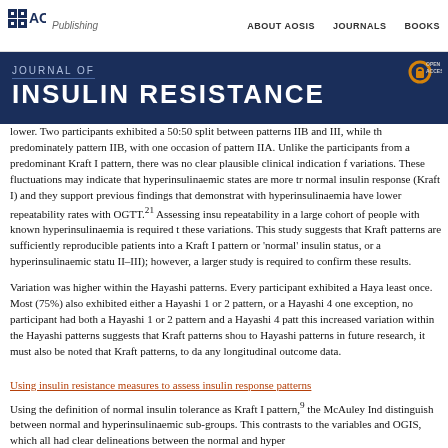AOSIS Publishing | ABOUT AOSIS | JOURNALS | BOOKS
JOURNAL OF INSULIN RESISTANCE
lower. Two participants exhibited a 50:50 split between patterns IIB and III, while the predominately pattern IIB, with one occasion of pattern IIA. Unlike the participants from a predominant Kraft I pattern, there was no clear plausible clinical indication for variations. These fluctuations may indicate that hyperinsulinaemic states are more tr normal insulin response (Kraft I) and they support previous findings that demonstrat with hyperinsulinaemia have lower repeatability rates with OGTT.21 Assessing insu repeatability in a large cohort of people with known hyperinsulinaemia is required to these variations. This study suggests that Kraft patterns are sufficiently reproducible patients into a Kraft I pattern or 'normal' insulin status, or a hyperinsulinaemic statu II–III); however, a larger study is required to confirm these results.
Variation was higher within the Hayashi patterns. Every participant exhibited a Haya least once. Most (75%) also exhibited either a Hayashi 1 or 2 pattern, or a Hayashi 4 one exception, no participant had both a Hayashi 1 or 2 pattern and a Hayashi 4 pat this increased variation within the Hayashi patterns suggests that Kraft patterns shou to Hayashi patterns in future research, it must also be noted that Kraft patterns, to da any longitudinal outcome data.
Using insulin resistance measures to assess insulin response patterns
Using the definition of normal insulin tolerance as Kraft I pattern,9 the McAuley Ind distinguish between normal and hyperinsulinaemic sub-groups. This contrasts to the variables and OGIS, which all had clear delineations between the normal and hyper